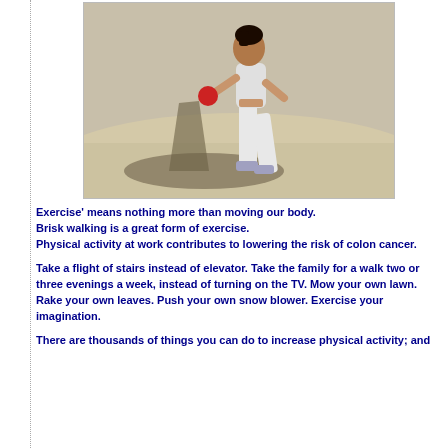[Figure (photo): Person walking on a beach in white pants and white top, holding a red dumbbell, casting a shadow on the sand.]
Exercise' means nothing more than moving our body.
Brisk walking is a great form of exercise.
Physical activity at work contributes to lowering the risk of colon cancer.
Take a flight of stairs instead of elevator. Take the family for a walk two or three evenings a week, instead of turning on the TV. Mow your own lawn. Rake your own leaves. Push your own snow blower. Exercise your imagination.
There are thousands of things you can do to increase physical activity; and